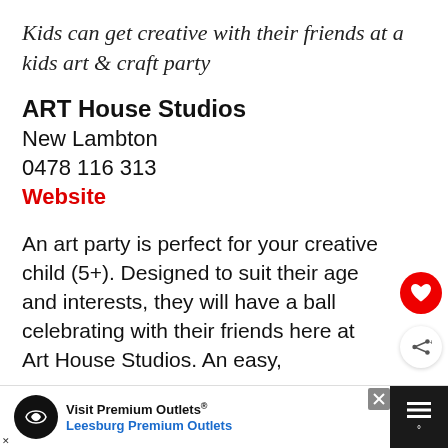Kids can get creative with their friends at a kids art & craft party
ART House Studios
New Lambton
0478 116 313
Website
An art party is perfect for your creative child (5+). Designed to suit their age and interests, they will have a ball celebrating with their friends here at Art House Studios. An easy,
[Figure (other): Advertisement banner for Visit Premium Outlets - Leesburg Premium Outlets with logo, navigation arrow icon, and close button]